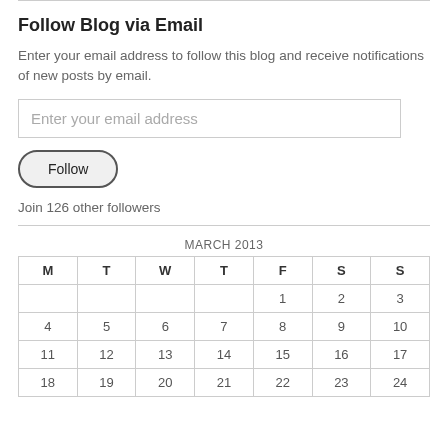Follow Blog via Email
Enter your email address to follow this blog and receive notifications of new posts by email.
Enter your email address
Follow
Join 126 other followers
| M | T | W | T | F | S | S |
| --- | --- | --- | --- | --- | --- | --- |
|  |  |  |  | 1 | 2 | 3 |
| 4 | 5 | 6 | 7 | 8 | 9 | 10 |
| 11 | 12 | 13 | 14 | 15 | 16 | 17 |
| 18 | 19 | 20 | 21 | 22 | 23 | 24 |